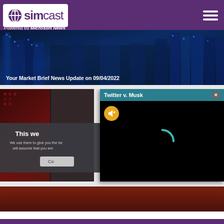simcast — Powered by Microsoft News
[Figure (screenshot): Hero banner image showing aerial view of illuminated city skyscrapers at night with blue tones]
Your Market Brief News Update on 09/04/2022
[Figure (screenshot): Video popup dialog titled 'Twitter v. Musk' showing a black video player area with a yellow mute button and teal loading spinner]
This we...
We use them to give you the be... will assume that you are...
Co...